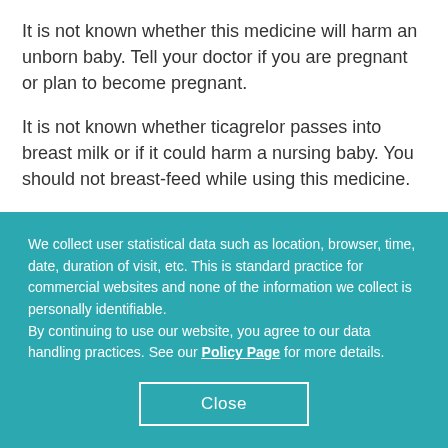It is not known whether this medicine will harm an unborn baby. Tell your doctor if you are pregnant or plan to become pregnant.
It is not known whether ticagrelor passes into breast milk or if it could harm a nursing baby. You should not breast-feed while using this medicine.
How should I take ticagrelor?
Follow all directions on your prescription label. Do not take this medicine in larger or smaller amounts or for longer than recommended.
We collect user statistical data such as location, browser, time, date, duration of visit, etc. This is standard practice for commercial websites and none of the information we collect is personally identifiable.
By continuing to use our website, you agree to our data handling practices. See our Policy Page for more details.